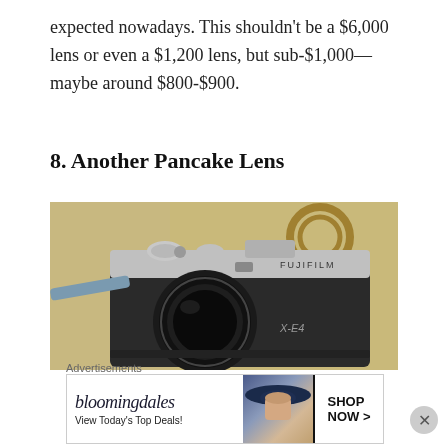expected nowadays. This shouldn't be a $6,000 lens or even a $1,200 lens, but sub-$1,000—maybe around $800-$900.
8. Another Pancake Lens
[Figure (photo): A Fujifilm X-E4 camera with silver top plate and black body, a round lens attached, leaning against a tan/olive canvas bag with a round metal ring handle]
Advertisements
[Figure (other): Bloomingdales advertisement banner: 'bloomingdales' brand name in italic serif font, 'View Today's Top Deals!' text, image of woman in wide-brim hat, and 'SHOP NOW >' button in bordered box]